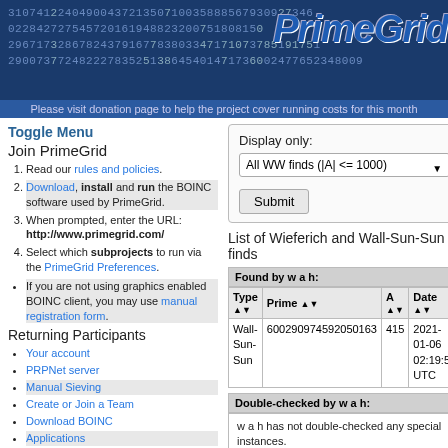PrimeGrid — Please visit donation page to help the project cover running costs for this month
Toggle Menu
Join PrimeGrid
1. Read our rules and policies.
2. Download, install and run the BOINC software used by PrimeGrid.
3. When prompted, enter the URL: http://www.primegrid.com/
4. Select which subprojects to run via the PrimeGrid Preferences.
If you are not using graphics enabled BOINC client, you may use manual registration form.
Returning Participants
Your account
PRPNet server
Manual Sieving
Create or Join a Team
Download BOINC
Applications
Make a donation
Community
Participant Profiles
PrimeGrid Message boards
PrimeGrid Discord chat server [external]
Display only:
All WW finds (|A| <= 1000)
Submit
List of Wieferich and Wall-Sun-Sun finds
Found by w a h:
| Type ▲▼ | Prime ▲▼ | A ▲▼ | Date ▲▼ |
| --- | --- | --- | --- |
| Wall-Sun-Sun | 600290974592050163 | 415 | 2021-01-06 02:19:51 UTC |
Double-checked by w a h:
w a h has not double-checked any special instances.